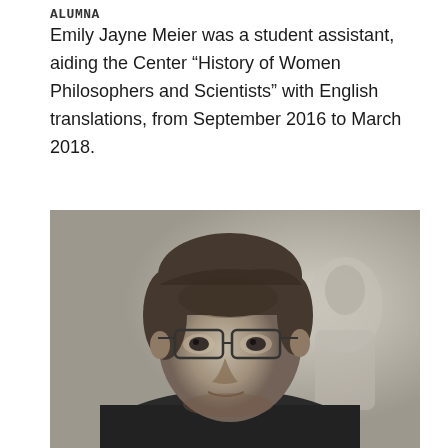ALUMNA
Emily Jayne Meier was a student assistant, aiding the Center “History of Women Philosophers and Scientists” with English translations, from September 2016 to March 2018.
[Figure (photo): Black and white photograph of a man with glasses, short brown hair, wearing a dark shirt. In the background there appears to be a painting or portrait of a figure.]